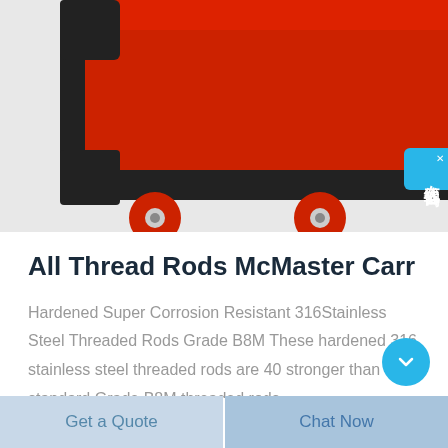[Figure (photo): Product photo of a red and black rolling cart/trolley with red wheels, partially visible from bottom angle]
All Thread Rods McMaster Carr
Hardened Super Corrosion Resistant 316Stainless Steel Threaded Rods Grade B8M These hardened 316 stainless steel threaded rods are 40 stronger than standard Grade B8M threaded rods